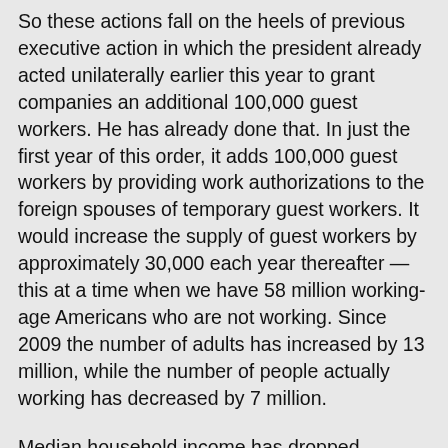So these actions fall on the heels of previous executive action in which the president already acted unilaterally earlier this year to grant companies an additional 100,000 guest workers. He has already done that. In just the first year of this order, it adds 100,000 guest workers by providing work authorizations to the foreign spouses of temporary guest workers. It would increase the supply of guest workers by approximately 30,000 each year thereafter — this at a time when we have 58 million working-age Americans who are not working. Since 2009 the number of adults has increased by 13 million, while the number of people actually working has decreased by 7 million.
Median household income has dropped